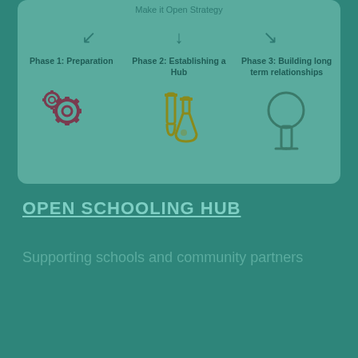[Figure (flowchart): Three-phase diagram under 'Make it Open Strategy' heading, showing Phase 1: Preparation (gear icons), Phase 2: Establishing a Hub (lab flask/tube icons), Phase 3: Building long term relationships (tree icon), with arrows pointing down to each phase.]
OPEN SCHOOLING HUB
Supporting schools and community partners